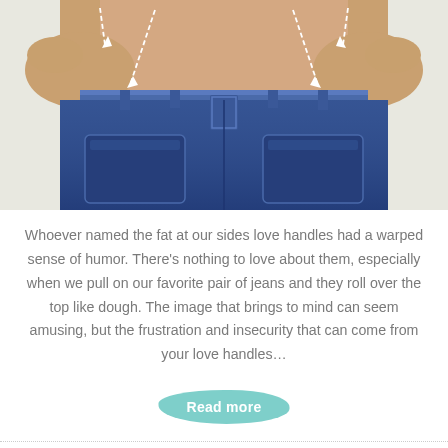[Figure (photo): Close-up photo of a person's torso wearing low-rise blue jeans, hands on hips, with white dashed arrows pointing to the sides indicating love handle areas.]
Whoever named the fat at our sides love handles had a warped sense of humor. There's nothing to love about them, especially when we pull on our favorite pair of jeans and they roll over the top like dough. The image that brings to mind can seem amusing, but the frustration and insecurity that can come from your love handles…
Read more